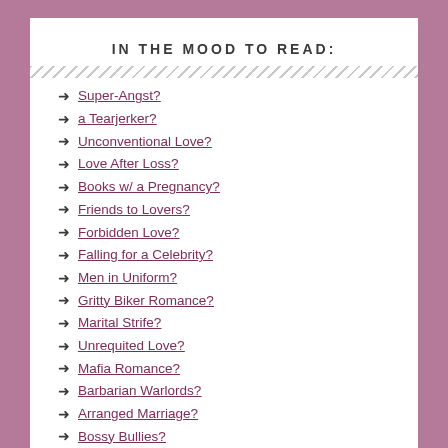IN THE MOOD TO READ:
Super-Angst?
a Tearjerker?
Unconventional Love?
Love After Loss?
Books w/ a Pregnancy?
Friends to Lovers?
Forbidden Love?
Falling for a Celebrity?
Men in Uniform?
Gritty Biker Romance?
Marital Strife?
Unrequited Love?
Mafia Romance?
Barbarian Warlords?
Arranged Marriage?
Bossy Bullies?
Older Main Characters?